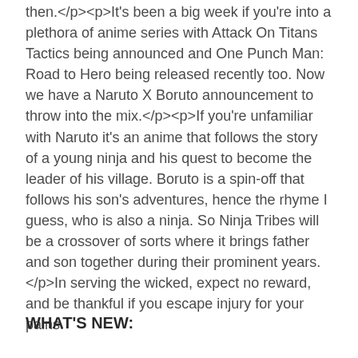then. It's been a big week if you're into a plethora of anime series with Attack On Titans Tactics being announced and One Punch Man: Road to Hero being released recently too. Now we have a Naruto X Boruto announcement to throw into the mix. If you're unfamiliar with Naruto it's an anime that follows the story of a young ninja and his quest to become the leader of his village. Boruto is a spin-off that follows his son's adventures, hence the rhyme I guess, who is also a ninja. So Ninja Tribes will be a crossover of sorts where it brings father and son together during their prominent years. In serving the wicked, expect no reward, and be thankful if you escape injury for your pains.
WHAT'S NEW: